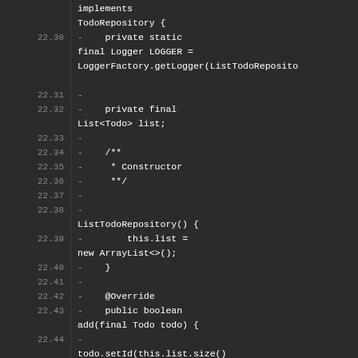Code diff view showing Java source lines 22.30-22.46+ for ListTodoRepository class implementation
[Figure (screenshot): Dark-themed code diff viewer showing Java source code lines numbered 22.30 through 22.46, displaying ListTodoRepository class implementing TodoRepository interface, with private static final Logger LOGGER field, private final List<Todo> list field, constructor initializing list as new ArrayList<>(), and add method with @Override that sets ID and returns this.list.add(todo)]